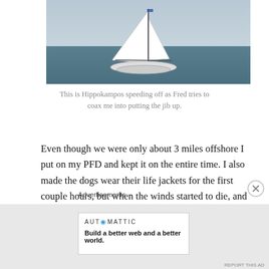[Figure (photo): A white sailboat with sails up sailing on open water under a hazy sky]
This is Hippokampos speeding off as Fred tries to coax me into putting the jib up.
Even though we were only about 3 miles offshore I put on my PFD and kept it on the entire time. I also made the dogs wear their life jackets for the first couple hours, but when the winds started to die, and the dogs were more likely to die of heat stroke than drowning, I let them take them off.
Advertisements
[Figure (logo): Automattic logo with tagline: Build a better web and a better world.]